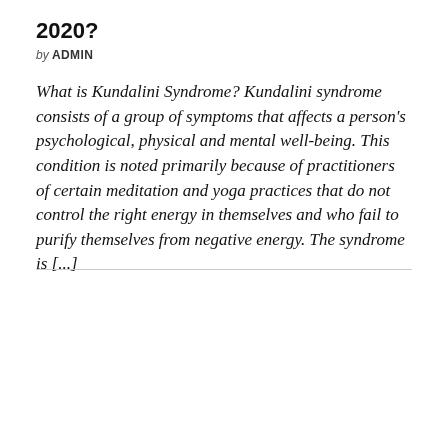2020?
by ADMIN
What is Kundalini Syndrome? Kundalini syndrome consists of a group of symptoms that affects a person's psychological, physical and mental well-being. This condition is noted primarily because of practitioners of certain meditation and yoga practices that do not control the right energy in themselves and who fail to purify themselves from negative energy. The syndrome is [...]